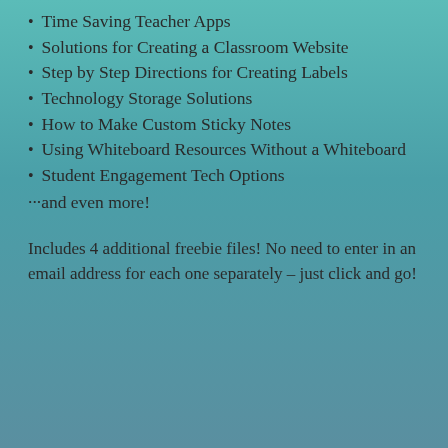Time Saving Teacher Apps
Solutions for Creating a Classroom Website
Step by Step Directions for Creating Labels
Technology Storage Solutions
How to Make Custom Sticky Notes
Using Whiteboard Resources Without a Whiteboard
Student Engagement Tech Options
···and even more!
Includes 4 additional freebie files! No need to enter in an email address for each one separately – just click and go!